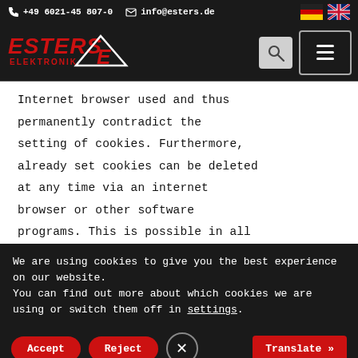+49 6021-45 807-0  info@esters.de
[Figure (logo): Esters Elektronik logo with red text and triangle graphic]
Internet browser used and thus permanently contradict the setting of cookies. Furthermore, already set cookies can be deleted at any time via an internet browser or other software programs. This is possible in all
We are using cookies to give you the best experience on our website.
You can find out more about which cookies we are using or switch them off in settings.
Accept  Reject  [close]  Translate »